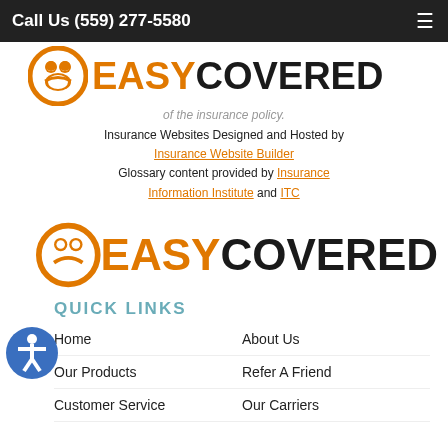Call Us (559) 277-5580
[Figure (logo): EasyCovered logo with orange circle icon and family silhouette, EASY in orange bold, COVERED in black bold]
of the insurance policy.
Insurance Websites Designed and Hosted by Insurance Website Builder
Glossary content provided by Insurance Information Institute and ITC
[Figure (logo): EasyCovered logo larger, with orange circle icon, EASY in orange, COVERED in black]
QUICK LINKS
Home
About Us
Our Products
Refer A Friend
Customer Service
Our Carriers